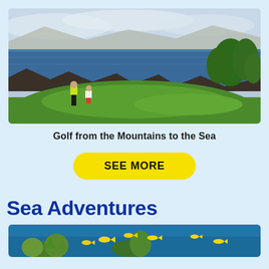[Figure (photo): Two golfers on a green coastal golf course with ocean and rocky shoreline in the background, mountains and palm trees in the distance under a cloudy sky.]
Golf from the Mountains to the Sea
SEE MORE
Sea Adventures
[Figure (photo): Underwater scene showing a coral reef with yellow tropical fish swimming above it against a blue ocean background.]